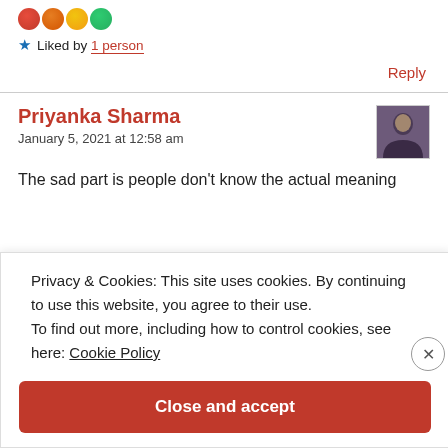[Figure (illustration): Emoji reaction icons (partially visible at top)]
★ Liked by 1 person
Reply
Priyanka Sharma
January 5, 2021 at 12:58 am
[Figure (photo): Avatar photo of Priyanka Sharma]
The sad part is people don't know the actual meaning
Privacy & Cookies: This site uses cookies. By continuing to use this website, you agree to their use.
To find out more, including how to control cookies, see here: Cookie Policy
Close and accept